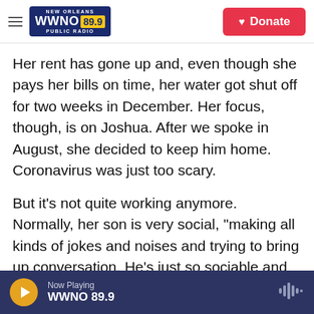NEW ORLEANS WWNO 89.9 PUBLIC RADIO | Donate
Her rent has gone up and, even though she pays her bills on time, her water got shut off for two weeks in December. Her focus, though, is on Joshua. After we spoke in August, she decided to keep him home. Coronavirus was just too scary.
But it's not quite working anymore. Normally, her son is very social, "making all kinds of jokes and noises and trying to bring up conversation. He's just so sociable and happy. He loves music."
But he's been out of school now now for a full year, she says, and Joshua has become increasingly
Now Playing WWNO 89.9